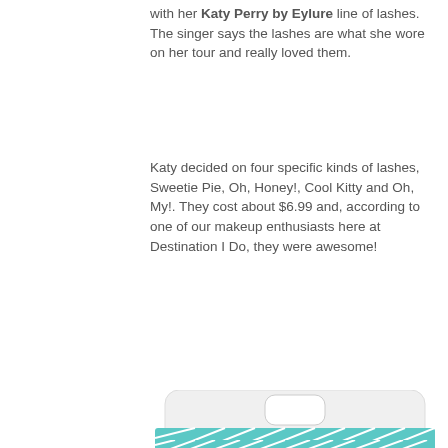with her Katy Perry by Eylure line of lashes. The singer says the lashes are what she wore on her tour and really loved them.
Katy decided on four specific kinds of lashes, Sweetie Pie, Oh, Honey!, Cool Kitty and Oh, My!. They cost about $6.99 and, according to one of our makeup enthusiasts here at Destination I Do, they were awesome!
[Figure (photo): Product packaging for Katy Perry Lashes created by Eylure, showing false eyelashes on a white tray holder with a teal chevron pattern background and Katy Perry's face visible at the bottom right corner.]